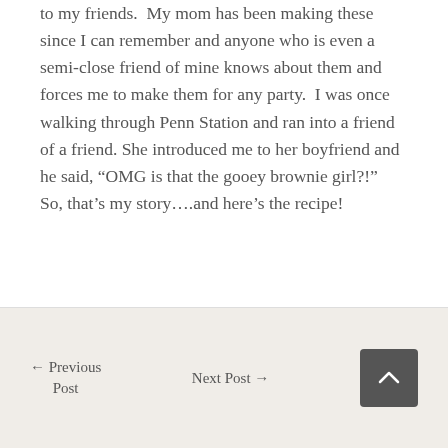to my friends.  My mom has been making these since I can remember and anyone who is even a semi-close friend of mine knows about them and forces me to make them for any party.  I was once walking through Penn Station and ran into a friend of a friend. She introduced me to her boyfriend and he said, “OMG is that the gooey brownie girl?!”  So, that’s my story….and here’s the recipe!
← Previous Post    Next Post →